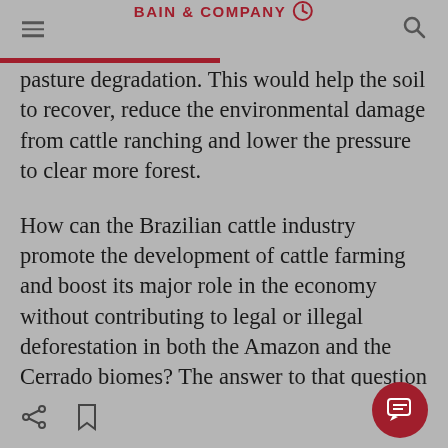BAIN & COMPANY
pasture degradation. This would help the soil to recover, reduce the environmental damage from cattle ranching and lower the pressure to clear more forest.

How can the Brazilian cattle industry promote the development of cattle farming and boost its major role in the economy without contributing to legal or illegal deforestation in both the Amazon and the Cerrado biomes? The answer to that question depends on new preferences and perspectives of both consumers and investo